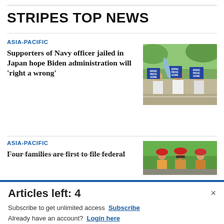STRIPES TOP NEWS
ASIA-PACIFIC
Supporters of Navy officer jailed in Japan hope Biden administration will ‘right a wrong’
[Figure (photo): Three people outdoors holding signs that read BRING RIDGE HOME]
ASIA-PACIFIC
Four families are first to file federal
[Figure (photo): People wearing red hard hats outdoors]
[Figure (infographic): Commissary Click2Go advertisement banner with green logo circle, commissary badge, and text reading order groceries | PICKUP]
Articles left: 4
Subscribe to get unlimited access  Subscribe
Already have an account?  Login here